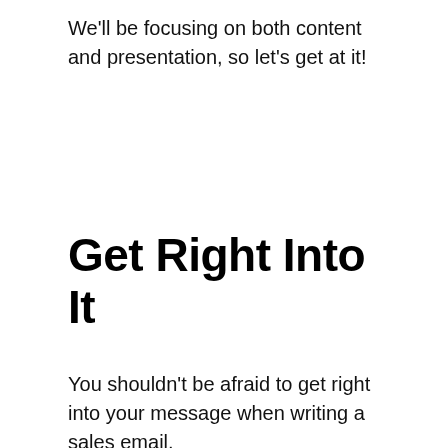We'll be focusing on both content and presentation, so let's get at it!
Get Right Into It
You shouldn't be afraid to get right into your message when writing a sales email.